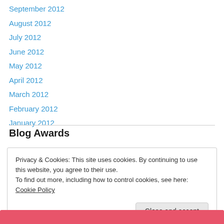September 2012
August 2012
July 2012
June 2012
May 2012
April 2012
March 2012
February 2012
January 2012
Blog Awards
Privacy & Cookies: This site uses cookies. By continuing to use this website, you agree to their use.
To find out more, including how to control cookies, see here: Cookie Policy
Close and accept